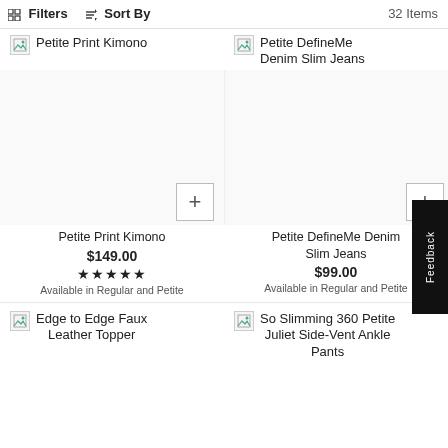Filters  Sort By  32 Items
[Figure (screenshot): Product image placeholder for Petite Print Kimono (top left)]
Petite Print Kimono
[Figure (screenshot): Product image placeholder for Petite DefineMe Denim Slim Jeans (top right)]
Petite DefineMe Denim Slim Jeans
Petite Print Kimono
$149.00
★★★★★
Available in Regular and Petite
Petite DefineMe Denim Slim Jeans
$99.00
Available in Regular and Petite
[Figure (screenshot): Product image placeholder for Edge to Edge Faux Leather Topper (bottom left)]
Edge to Edge Faux Leather Topper
[Figure (screenshot): Product image placeholder for So Slimming 360 Petite Juliet Side-Vent Ankle Pants (bottom right)]
So Slimming 360 Petite Juliet Side-Vent Ankle Pants